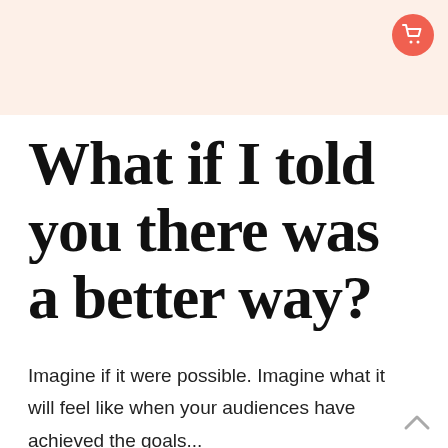[Figure (other): Salmon/peach colored header banner with a red circular shopping cart icon in the top right corner]
What if I told you there was a better way?
Imagine if it were possible. Imagine what it will feel like when your audiences have achieved the goals...